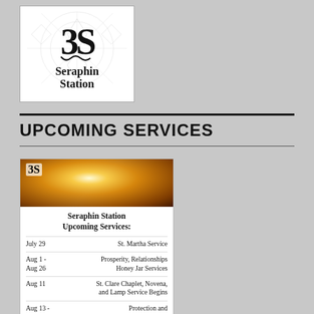[Figure (logo): Seraphin Station logo: stylized 'S' with snake motif on a background of occult symbols, text reads 'Seraphin Station']
UPCOMING SERVICES
[Figure (infographic): Seraphin Station Upcoming Services card with candlelit photo header and list of services: July 29 St. Martha Service; Aug 1 - Aug 26 Prosperity, Relationships Honey Jar Services; Aug 11 St. Clare Chaplet, Novena, and Lamp Service Begins; Aug 13 - Sep 8 Protection and Reversing Service]